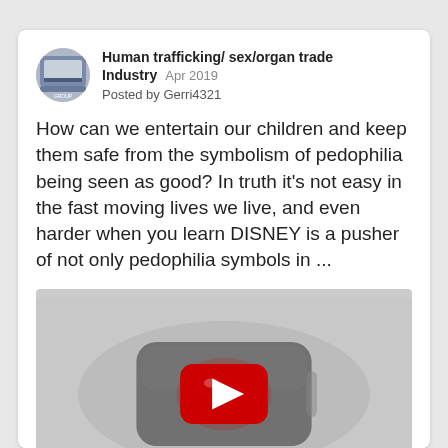Human trafficking/ sex/organ trade Industry   Apr 2019
Posted by Gerri4321
How can we entertain our children and keep them safe from the symbolism of pedophilia being seen as good? In truth it's not easy in the fast moving lives we live, and even harder when you learn DISNEY is a pusher of not only pedophilia symbols in ...
[Figure (screenshot): YouTube video thumbnail placeholder showing YouTube play button logo on grey background]